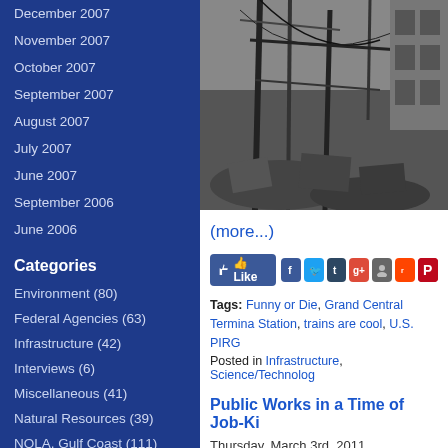December 2007
November 2007
October 2007
September 2007
August 2007
July 2007
June 2007
September 2006
June 2006
Categories
Environment (80)
Federal Agencies (63)
Infrastructure (42)
Interviews (6)
Miscellaneous (41)
Natural Resources (39)
NOLA, Gulf Coast (111)
Politics/Economy (257)
[Figure (photo): Black and white photograph showing construction rubble and steel framework]
(more...)
[Figure (screenshot): Social media sharing buttons: Like, Facebook, Twitter, Tumblr, Google+, MySpace, Reddit, Pinterest]
Tags: Funny or Die, Grand Central Terminal Station, trains are cool, U.S. PIRG
Posted in Infrastructure, Science/Technology
Public Works in a Time of Job-Ki
Thursday, March 3rd, 2011
[Figure (screenshot): Museum of the City badge (orange) and UPCOMING PR text on dark background]